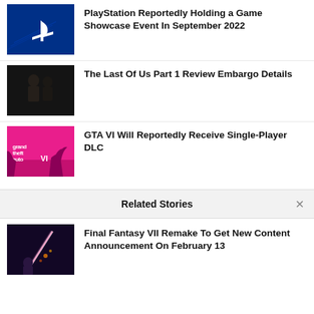PlayStation Reportedly Holding a Game Showcase Event In September 2022
The Last Of Us Part 1 Review Embargo Details
GTA VI Will Reportedly Receive Single-Player DLC
Related Stories
Final Fantasy VII Remake To Get New Content Announcement On February 13